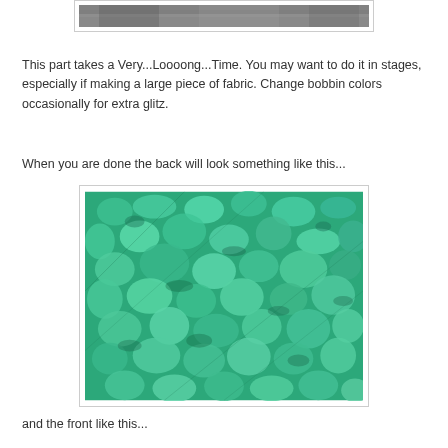[Figure (photo): Partial view of a grayscale textured fabric at the top of the page, cropped]
This part takes a Very...Loooong...Time. You may want to do it in stages, especially if making a large piece of fabric. Change bobbin colors occasionally for extra glitz.
When you are done the back will look something like this...
[Figure (photo): Close-up photo of the back of heavily textured teal/green fabric with raised loopy, bubbly surface texture.]
and the front like this...